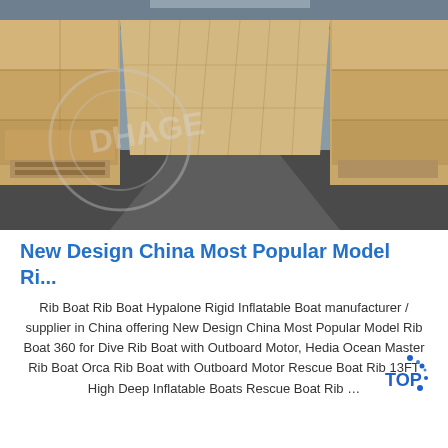[Figure (photo): Warehouse interior showing rows of large cardboard boxes stacked on pallets, with a long aisle stretching to the far end. A watermark/logo is faintly visible over the image.]
New Design China Most Popular Model Ri...
Rib Boat Rib Boat Hypalone Rigid Inflatable Boat manufacturer / supplier in China offering New Design China Most Popular Model Rib Boat 360 for Dive Rib Boat with Outboard Motor, Hedia Ocean Master Rib Boat Orca Rib Boat with Outboard Motor Rescue Boat Rib 13FT High Deep Inflatable Boats Rescue Boat Rib …